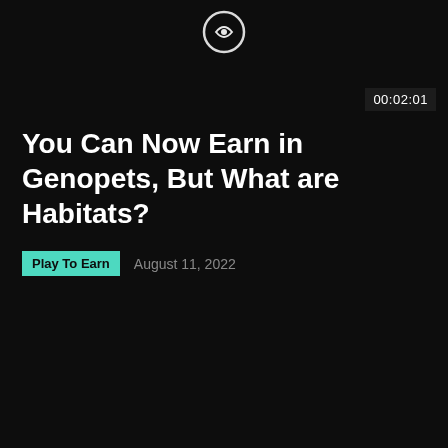[Figure (logo): Circular logo icon at top center, partially visible]
00:02:01
You Can Now Earn in Genopets, But What are Habitats?
Play To Earn
August 11, 2022